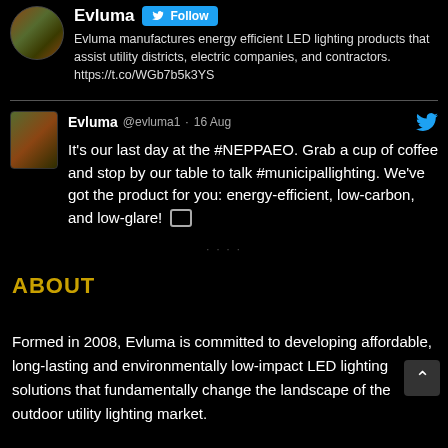Evluma — Follow button. Evluma manufactures energy efficient LED lighting products that assist utility districts, electric companies, and contractors. https://t.co/WGb7b5k3YS
Evluma @evluma1 · 16 Aug — It's our last day at the #NEPPAEO. Grab a cup of coffee and stop by our table to talk #municipallighting. We've got the product for you: energy-efficient, low-carbon, and low-glare!
ABOUT
Formed in 2008, Evluma is committed to developing affordable, long-lasting and environmentally low-impact LED lighting solutions that fundamentally change the landscape of the outdoor utility lighting market.